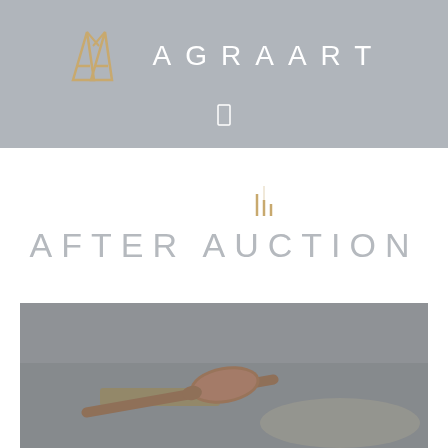[Figure (logo): AGRAART logo: gold/khaki double-M monogram mark on left, white spaced text 'AGRAART' on right, on grey background]
[Figure (logo): AFTER AUCTION text logo in light grey spaced lettering with small golden bar chart icon above the 'U', on white background]
[Figure (photo): Photograph of a wooden auction gavel resting on a sound block on a dark surface, greyed/faded overlay]